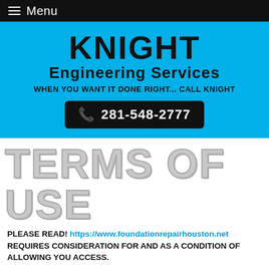Menu
[Figure (logo): Knight Engineering Services logo with blue background, large KNIGHT text, Engineering Services subtitle, tagline WHEN YOU WANT IT DONE RIGHT... CALL KNIGHT, and phone number button 281-548-2777]
TERMS OF USE
PLEASE READ! https://www.foundationrepairhouston.net REQUIRES CONSIDERATION FOR AND AS A CONDITION OF ALLOWING YOU ACCESS.
READING AND ACCEPTING THE TERMS OF USE AND